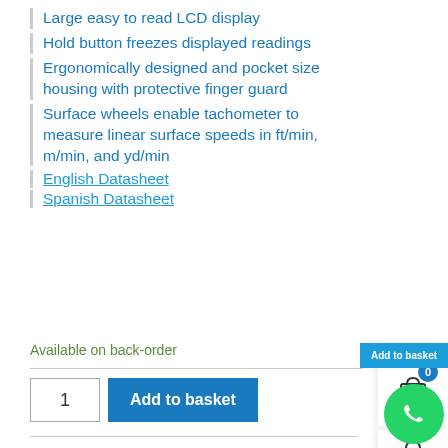Large easy to read LCD display
Hold button freezes displayed readings
Ergonomically designed and pocket size housing with protective finger guard
Surface wheels enable tachometer to measure linear surface speeds in ft/min, m/min, and yd/min
English Datasheet
Spanish Datasheet
Available on back-order
SKU: 461750-POCKETTACH-MINI-CONTACT-TACHOMETER CATEGORIES: TACHOMETER TAGS: EXTECH, RPM, RPM METER, STROBOSCOPE, TACHOM...